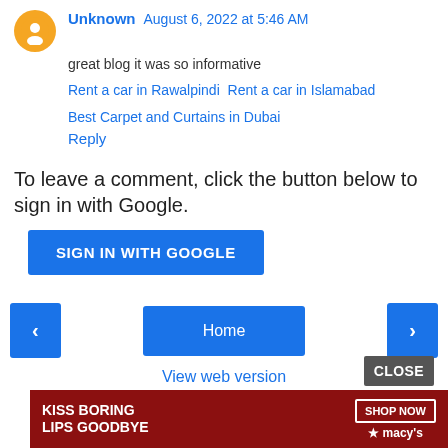Unknown  August 6, 2022 at 5:46 AM
great blog it was so informative
Rent a car in Rawalpindi  Rent a car in Islamabad
Best Carpet and Curtains in Dubai
Reply
To leave a comment, click the button below to sign in with Google.
SIGN IN WITH GOOGLE
Home
View web version
CLOSE
[Figure (other): Macy's advertisement banner: KISS BORING LIPS GOODBYE with SHOP NOW button and Macy's star logo]